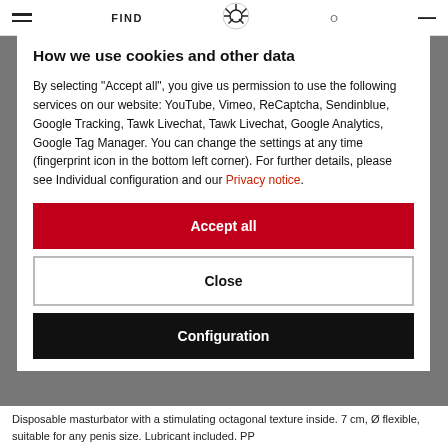FIND
How we use cookies and other data
By selecting "Accept all", you give us permission to use the following services on our website: YouTube, Vimeo, ReCaptcha, Sendinblue, Google Tracking, Tawk Livechat, Tawk Livechat, Google Analytics, Google Tag Manager. You can change the settings at any time (fingerprint icon in the bottom left corner). For further details, please see Individual configuration and our Privacy notice.
Accept all
Close
Configuration
Disposable masturbator with a stimulating octagonal texture inside. 7 cm, Ø flexible, suitable for any penis size. Lubricant included. PP